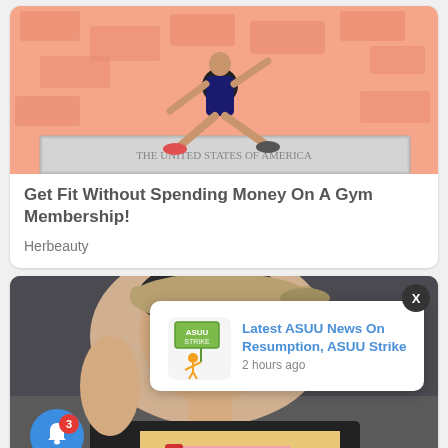[Figure (photo): Person exercising in a lunge position on top of a $100 bill, set against a pink/salmon background covered with money imagery]
Get Fit Without Spending Money On A Gym Membership!
Herbeauty
[Figure (photo): Young man in a baseball cap leaning over a woman with blonde hair, both lying down, posed photo]
[Figure (illustration): ASUU Strike logo with cartoon figure holding a sign]
Latest ASUU News On Resumption, ASUU Strike
2 hours ago
Smith's 14-Year-Old Daughter Is The Spitting